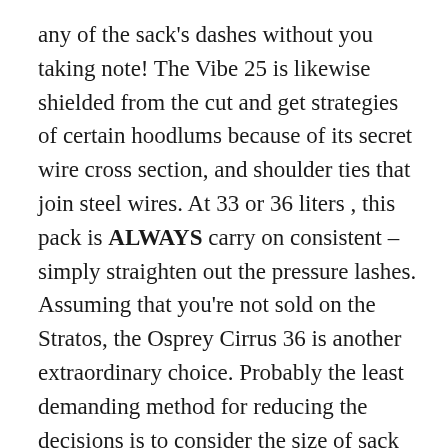any of the sack's dashes without you taking note! The Vibe 25 is likewise shielded from the cut and get strategies of certain hoodlums because of its secret wire cross section, and shoulder ties that join steel wires. At 33 or 36 liters , this pack is ALWAYS carry on consistent – simply straighten out the pressure lashes. Assuming that you're not sold on the Stratos, the Osprey Cirrus 36 is another extraordinary choice. Probably the least demanding method for reducing the decisions is to consider the size of sack you require. Assuming you're looking for a sack that will see you through the every day drive you're in all likelihood going to require a more modest satchel than on the off chance that you're taking off get away from home. Demolished,